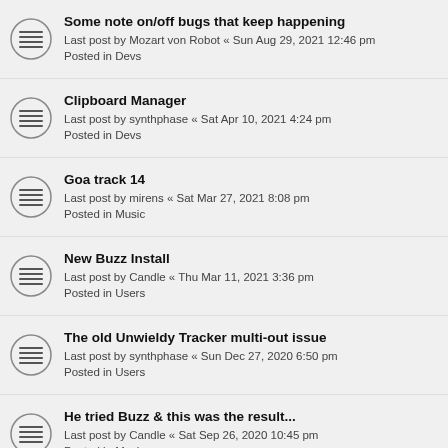Some note on/off bugs that keep happening
Last post by Mozart von Robot « Sun Aug 29, 2021 12:46 pm
Posted in Devs
Clipboard Manager
Last post by synthphase « Sat Apr 10, 2021 4:24 pm
Posted in Devs
Goa track 14
Last post by mirens « Sat Mar 27, 2021 8:08 pm
Posted in Music
New Buzz Install
Last post by Candle « Thu Mar 11, 2021 3:36 pm
Posted in Users
The old Unwieldy Tracker multi-out issue
Last post by synthphase « Sun Dec 27, 2020 6:50 pm
Posted in Users
He tried Buzz & this was the result...
Last post by Candle « Sat Sep 26, 2020 10:45 pm
Posted in Music
New Single - Recorded in Buzz
Last post by Candle « Fri Jul 03, 2020 2:09 am
Posted in Music